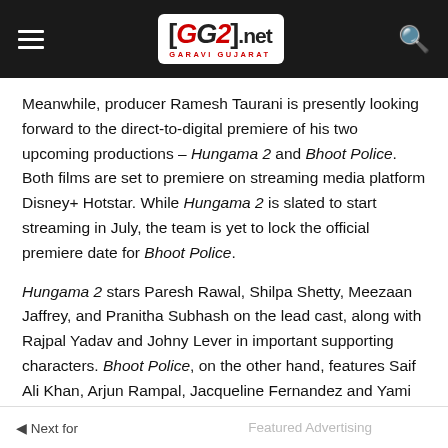GG2.net GARAVI GUJARAT
Meanwhile, producer Ramesh Taurani is presently looking forward to the direct-to-digital premiere of his two upcoming productions – Hungama 2 and Bhoot Police. Both films are set to premiere on streaming media platform Disney+ Hotstar. While Hungama 2 is slated to start streaming in July, the team is yet to lock the official premiere date for Bhoot Police.
Hungama 2 stars Paresh Rawal, Shilpa Shetty, Meezaan Jaffrey, and Pranitha Subhash on the lead cast, along with Rajpal Yadav and Johny Lever in important supporting characters. Bhoot Police, on the other hand, features Saif Ali Khan, Arjun Rampal, Jacqueline Fernandez and Yami Gautam in starring roles.
Next | Featured Advertising